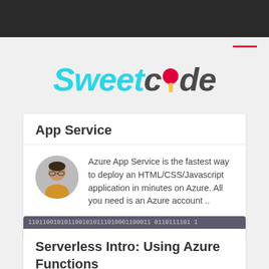[Figure (logo): Sweetcode logo with cyan italic 'Sweet' text, dark 'code' with red lollipop replacing the 'o', on white background]
App Service
Azure App Service is the fastest way to deploy an HTML/CSS/Javascript application in minutes on Azure. All you need is an Azure account ..
4 years ago
Serverless Intro: Using Azure Functions